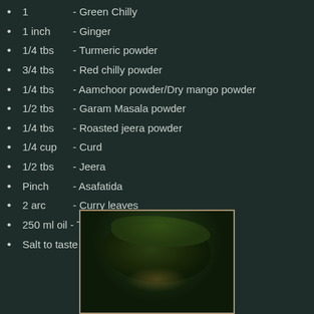1 - Green Chilly
1 inch - Ginger
1/4 tbs - Turmeric powder
3/4 tbs - Red chilly powder
1/4 tbs - Aamchoor powder/Dry mango powder
1/2 tbs - Garam Masala powder
1/4 tbs - Roasted jeera powder
1/4 cup - Curd
1/2 tbs - Jeera
Pinch - Asafatida
2 arc - Curry leaves
250 ml oil - To deep fry Okra
Salt to taste
[Figure (photo): A plate of deep fried Okra dish garnished with green herbs/coriander leaves]